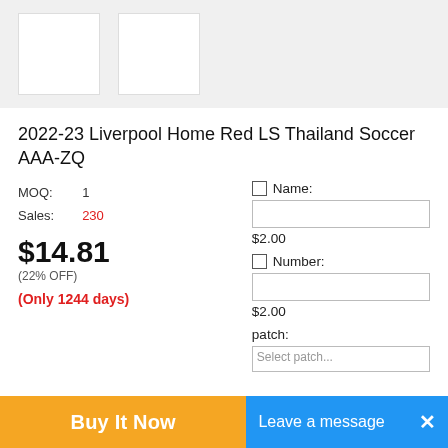[Figure (photo): Two white product thumbnail images on a light grey background strip]
2022-23 Liverpool Home Red LS Thailand Soccer AAA-ZQ
MOQ: 1
Sales: 230
$14.81
(22% OFF)
(Only 1244 days)
Name:
$2.00
Number:
$2.00
patch:
Buy It Now
Leave a message  ×